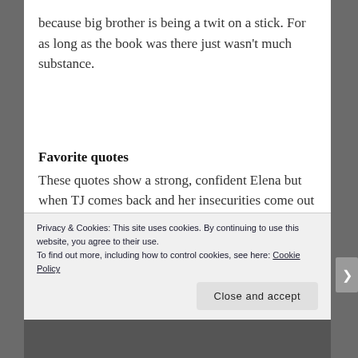because big brother is being a twit on a stick. For as long as the book was there just wasn't much substance.
Favorite quotes
These quotes show a strong, confident Elena but when TJ comes back and her insecurities come out I kind of shut down a bit even when she was threatening to kick TJ's ass.
Privacy & Cookies: This site uses cookies. By continuing to use this website, you agree to their use.
To find out more, including how to control cookies, see here: Cookie Policy